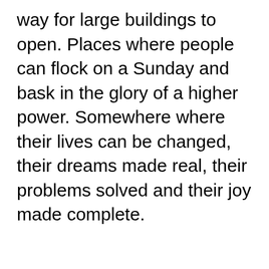way for large buildings to open. Places where people can flock on a Sunday and bask in the glory of a higher power. Somewhere where their lives can be changed, their dreams made real, their problems solved and their joy made complete.